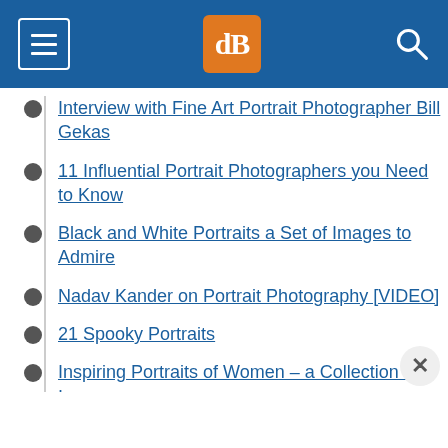dPS navigation header
Interview with Fine Art Portrait Photographer Bill Gekas
11 Influential Portrait Photographers you Need to Know
Black and White Portraits a Set of Images to Admire
Nadav Kander on Portrait Photography [VIDEO]
21 Spooky Portraits
Inspiring Portraits of Women – a Collection of Images